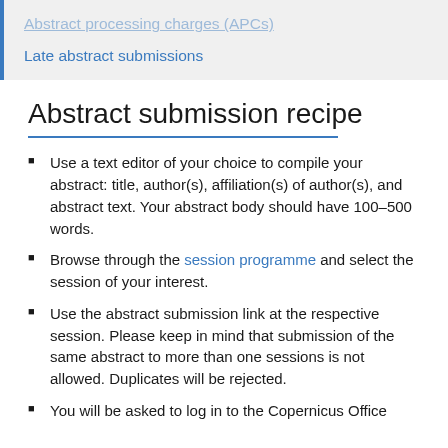Abstract processing charges (APCs)
Late abstract submissions
Abstract submission recipe
Use a text editor of your choice to compile your abstract: title, author(s), affiliation(s) of author(s), and abstract text. Your abstract body should have 100–500 words.
Browse through the session programme and select the session of your interest.
Use the abstract submission link at the respective session. Please keep in mind that submission of the same abstract to more than one sessions is not allowed. Duplicates will be rejected.
You will be asked to log in to the Copernicus Office...